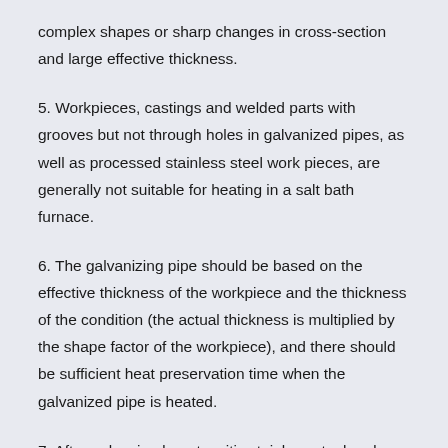complex shapes or sharp changes in cross-section and large effective thickness.
5. Workpieces, castings and welded parts with grooves but not through holes in galvanized pipes, as well as processed stainless steel work pieces, are generally not suitable for heating in a salt bath furnace.
6. The galvanizing pipe should be based on the effective thickness of the workpiece and the thickness of the condition (the actual thickness is multiplied by the shape factor of the workpiece), and there should be sufficient heat preservation time when the galvanized pipe is heated.
7. After galvanized martensitic stainless steel and heat-resistant stainless steel, it is necessary to do a good job t